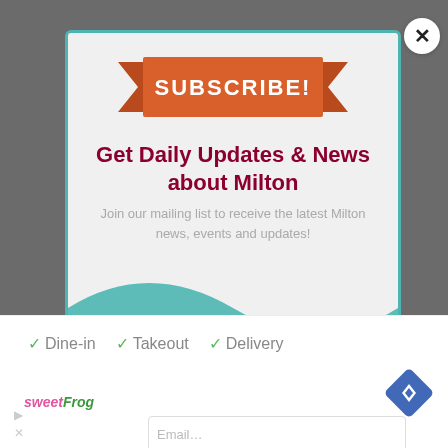[Figure (screenshot): A subscription modal popup with orange ribbon banner reading SUBSCRIBE!, dark red heading 'Get Daily Updates & News about Milton', gray subtext about joining mailing list, teal lower section with email input field, overlaid on a gray background webpage]
SUBSCRIBE!
Get Daily Updates & News about Milton
Join our mailing list to receive the latest Milton news, events and updates!
✓ Dine-in  ✓ Takeout  ✓ Delivery
[Figure (logo): sweetFrog logo in pink and green italic text]